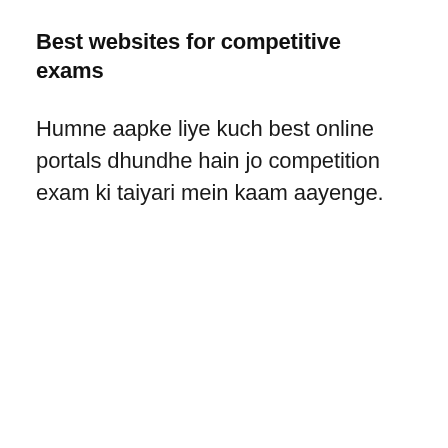Best websites for competitive exams
Humne aapke liye kuch best online portals dhundhe hain jo competition exam ki taiyari mein kaam aayenge.